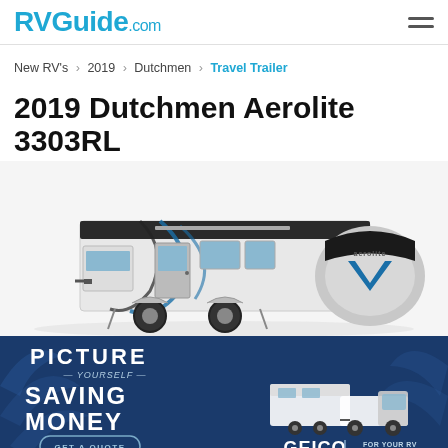RVGuide.com
New RV's › 2019 › Dutchmen › Travel Trailer
2019 Dutchmen Aerolite 3303RL
[Figure (photo): Side view of a 2019 Dutchmen Aerolite 3303RL travel trailer with white and dark swirl graphic design, silver front cap with Aerolite branding]
[Figure (photo): GEICO advertisement banner with dark blue background and palm leaf overlay. Left side reads PICTURE YOURSELF SAVING MONEY with GET A QUOTE button. Right side shows illustration of truck towing RV and GEICO FOR YOUR RV logo.]